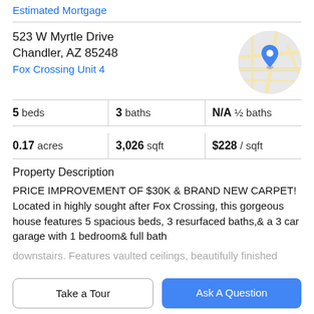Estimated Mortgage
523 W Myrtle Drive
Chandler, AZ 85248
Fox Crossing Unit 4
[Figure (map): Circular map thumbnail showing street map with blue location pin marker]
| 5 beds | 3 baths | N/A ½ baths |
| 0.17 acres | 3,026 sqft | $228 / sqft |
Property Description
PRICE IMPROVEMENT OF $30K & BRAND NEW CARPET! Located in highly sought after Fox Crossing, this gorgeous house features 5 spacious beds, 3 resurfaced baths,& a 3 car garage with 1 bedroom& full bath downstairs. Features vaulted ceilings, beautifully finished
Take a Tour
Ask A Question